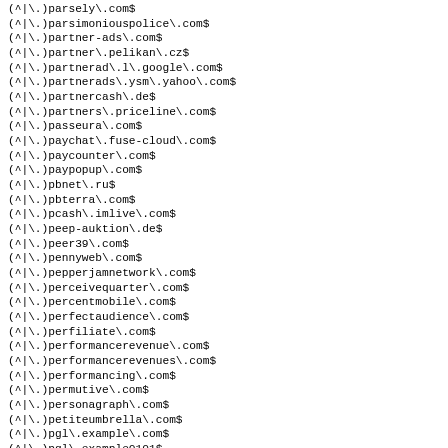(^|\.)parsely\.com$
(^|\.)parsimoniouspolice\.com$
(^|\.)partner-ads\.com$
(^|\.)partner\.pelikan\.cz$
(^|\.)partnerad\.l\.google\.com$
(^|\.)partnerads\.ysm\.yahoo\.com$
(^|\.)partnercash\.de$
(^|\.)partners\.priceline\.com$
(^|\.)passeura\.com$
(^|\.)paychat\.fuse-cloud\.com$
(^|\.)paycounter\.com$
(^|\.)paypopup\.com$
(^|\.)pbnet\.ru$
(^|\.)pbterra\.com$
(^|\.)pcash\.imlive\.com$
(^|\.)peep-auktion\.de$
(^|\.)peer39\.com$
(^|\.)pennyweb\.com$
(^|\.)pepperjamnetwork\.com$
(^|\.)perceivequarter\.com$
(^|\.)percentmobile\.com$
(^|\.)perfectaudience\.com$
(^|\.)perfiliate\.com$
(^|\.)performancerevenue\.com$
(^|\.)performancerevenues\.com$
(^|\.)performancing\.com$
(^|\.)permutive\.com$
(^|\.)personagraph\.com$
(^|\.)petiteumbrella\.com$
(^|\.)pgl\.example\.com$
(^|\.)pgl\.example0101$
(^|\.)pgmediaserve\.com$